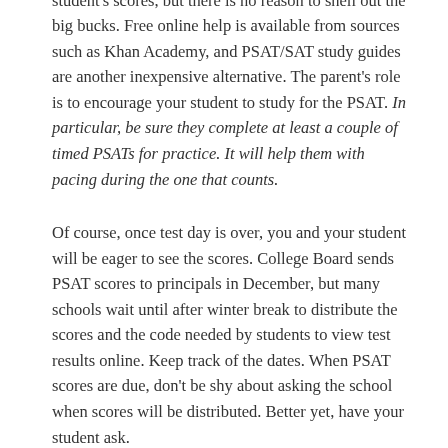courses, in person or online, may improve your student's scores, but there is no reason to shell out the big bucks. Free online help is available from sources such as Khan Academy, and PSAT/SAT study guides are another inexpensive alternative. The parent's role is to encourage your student to study for the PSAT. In particular, be sure they complete at least a couple of timed PSATs for practice. It will help them with pacing during the one that counts.
Of course, once test day is over, you and your student will be eager to see the scores. College Board sends PSAT scores to principals in December, but many schools wait until after winter break to distribute the scores and the code needed by students to view test results online. Keep track of the dates. When PSAT scores are due, don't be shy about asking the school when scores will be distributed. Better yet, have your student ask.
Once you've seen the score, you may wonder whether your student is still in the running for National Merit Scholar. Many online forums have state-by-state lists